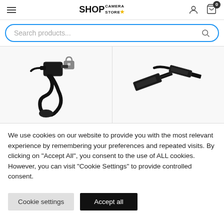SHOP CAMERA STORE
[Figure (screenshot): Search bar with blue border and search icon]
[Figure (photo): Two product images: left shows a coiled cable with connector and lock icon; right shows USB cable connectors]
We use cookies on our website to provide you with the most relevant experience by remembering your preferences and repeated visits. By clicking on "Accept All", you consent to the use of ALL cookies. However, you can visit "Cookie Settings" to provide controlled consent.
Cookie settings | Accept all